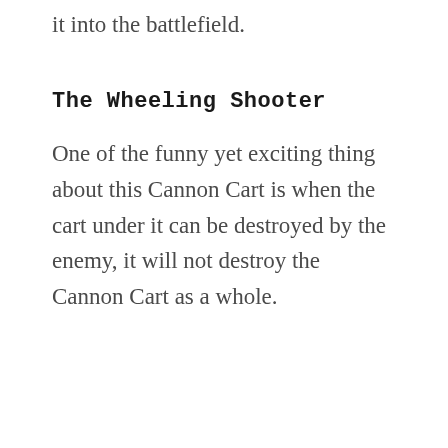it into the battlefield.
The Wheeling Shooter
One of the funny yet exciting thing about this Cannon Cart is when the cart under it can be destroyed by the enemy, it will not destroy the Cannon Cart as a whole.